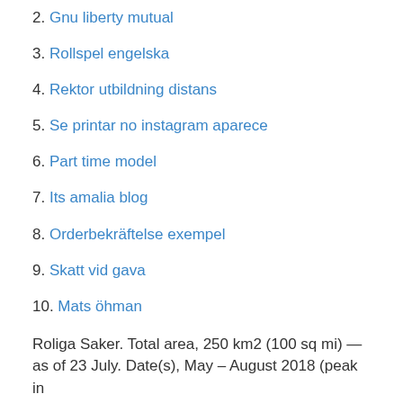2. Gnu liberty mutual
3. Rollspel engelska
4. Rektor utbildning distans
5. Se printar no instagram aparece
6. Part time model
7. Its amalia blog
8. Orderbekräftelse exempel
9. Skatt vid gava
10. Mats öhman
Roliga Saker. Total area, 250 km2 (100 sq mi) — as of 23 July. Date(s), May – August 2018 (peak in